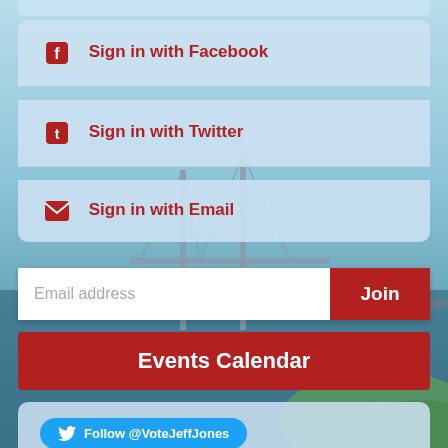[Figure (screenshot): Background photo of a bridge over water with sky and greenery]
Sign in with Facebook
Sign in with Twitter
Sign in with Email
Email address
Join
Events Calendar
Follow @VoteJeffJones
Subscribe with RSS